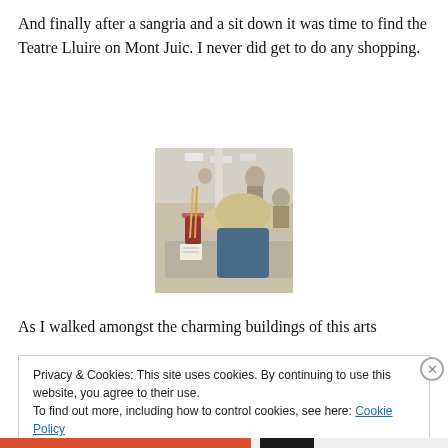And finally after a sangria and a sit down it was time to find the Teatre Lluire on Mont Juic. I never did get to do any shopping.
[Figure (photo): A person wearing a wide-brimmed hat sitting at a table with a sangria drink, inside what appears to be a busy market or restaurant.]
As I walked amongst the charming buildings of this arts
Privacy & Cookies: This site uses cookies. By continuing to use this website, you agree to their use.
To find out more, including how to control cookies, see here: Cookie Policy
Close and accept